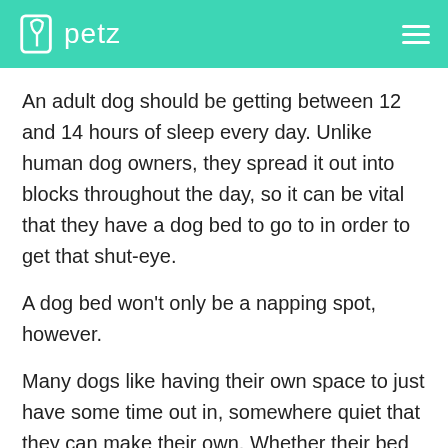petz
An adult dog should be getting between 12 and 14 hours of sleep every day. Unlike human dog owners, they spread it out into blocks throughout the day, so it can be vital that they have a dog bed to go to in order to get that shut-eye.
A dog bed won't only be a napping spot, however.
Many dogs like having their own space to just have some time out in, somewhere quiet that they can make their own. Whether their bed will be kept in the living room, in the human bedroom, inside their dog crate or simply moved around depending on the time